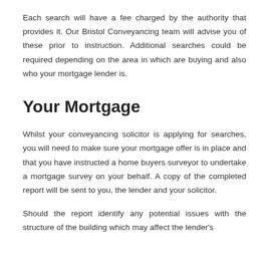Each search will have a fee charged by the authority that provides it. Our Bristol Conveyancing team will advise you of these prior to instruction. Additional searches could be required depending on the area in which are buying and also who your mortgage lender is.
Your Mortgage
Whilst your conveyancing solicitor is applying for searches, you will need to make sure your mortgage offer is in place and that you have instructed a home buyers surveyor to undertake a mortgage survey on your behalf. A copy of the completed report will be sent to you, the lender and your solicitor.
Should the report identify any potential issues with the structure of the building which may affect the lender's